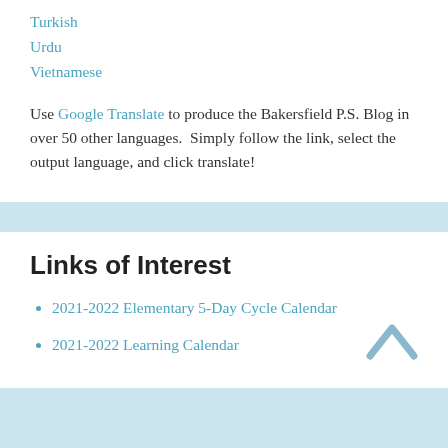Turkish
Urdu
Vietnamese
Use Google Translate to produce the Bakersfield P.S. Blog in over 50 other languages.  Simply follow the link, select the output language, and click translate!
Links of Interest
2021-2022 Elementary 5-Day Cycle Calendar
2021-2022 Learning Calendar